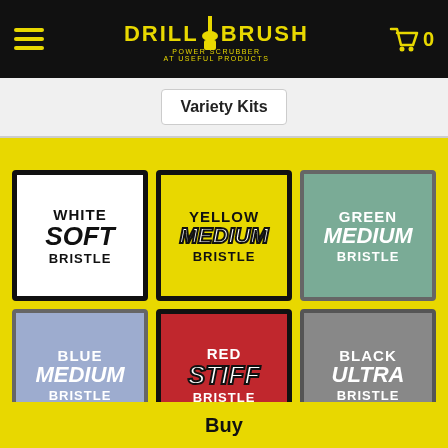DRILL BRUSH POWER SCRUBBER AT USEFUL PRODUCTS — cart 0
Variety Kits
[Figure (infographic): Six colored product category cards arranged in a 3x2 grid: White SOFT BRISTLE, Yellow MEDIUM BRISTLE, Green MEDIUM BRISTLE, Blue MEDIUM BRISTLE, Red STIFF BRISTLE, Black ULTRA BRISTLE]
Applications:Bathroom
Buy